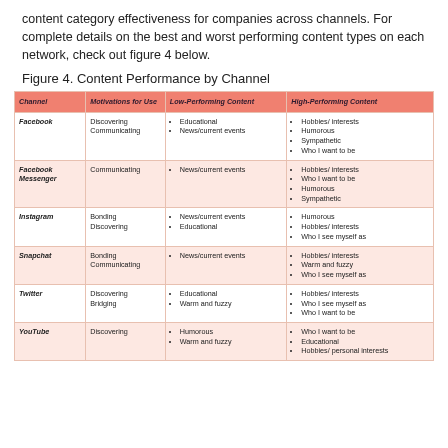content category effectiveness for companies across channels. For complete details on the best and worst performing content types on each network, check out figure 4 below.
Figure 4. Content Performance by Channel
| Channel | Motivations for Use | Low-Performing Content | High-Performing Content |
| --- | --- | --- | --- |
| Facebook | Discovering
Communicating | Educational
News/current events | Hobbies/ interests
Humorous
Sympathetic
Who I want to be |
| Facebook Messenger | Communicating | News/current events | Hobbies/ interests
Who I want to be
Humorous
Sympathetic |
| Instagram | Bonding
Discovering | News/current events
Educational | Humorous
Hobbies/ interests
Who I see myself as |
| Snapchat | Bonding
Communicating | News/current events | Hobbies/ interests
Warm and fuzzy
Who I see myself as |
| Twitter | Discovering
Bridging | Educational
Warm and fuzzy | Hobbies/ interests
Who I see myself as
Who I want to be |
| YouTube | Discovering | Humorous
Warm and fuzzy | Who I want to be
Educational
Hobbies/ personal interests |